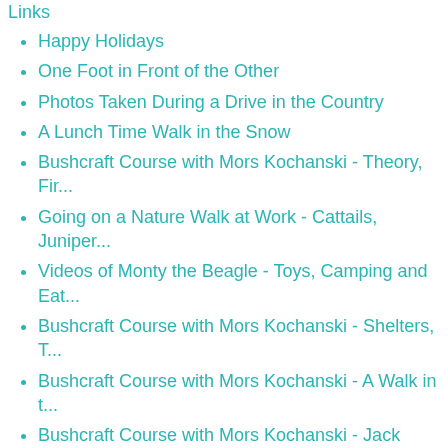Links
Happy Holidays
One Foot in Front of the Other
Photos Taken During a Drive in the Country
A Lunch Time Walk in the Snow
Bushcraft Course with Mors Kochanski - Theory, Fir...
Going on a Nature Walk at Work - Cattails, Juniper...
Videos of Monty the Beagle - Toys, Camping and Eat...
Bushcraft Course with Mors Kochanski - Shelters, T...
Bushcraft Course with Mors Kochanski - A Walk in t...
Bushcraft Course with Mors Kochanski - Jack Mounta...
Bushcraft Course with Mors Kochanski - Driving Dow...